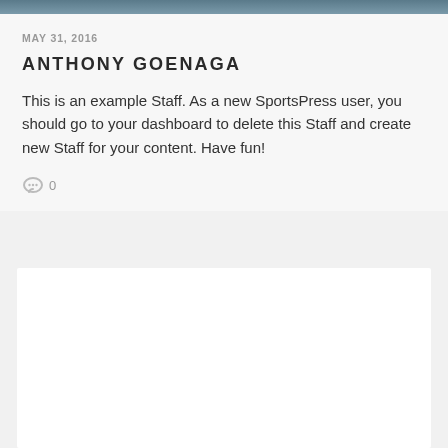[Figure (photo): Partial image strip at top of page]
MAY 31, 2016
ANTHONY GOENAGA
This is an example Staff. As a new SportsPress user, you should go to your dashboard to delete this Staff and create new Staff for your content. Have fun!
0